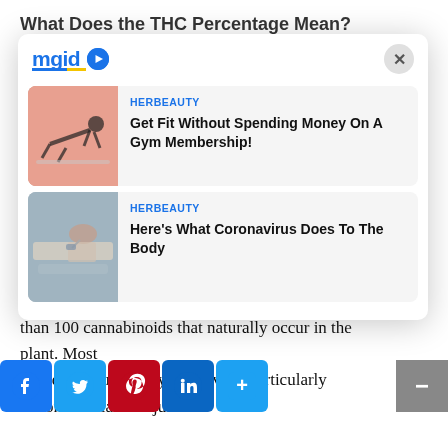What Does the THC Percentage Mean?
When you buy a cannabis product from a dispensary, it
[Figure (screenshot): MGID advertisement widget modal with two ad cards. First card: HERBEAUTY - Get Fit Without Spending Money On A Gym Membership! Second card: HERBEAUTY - Here's What Coronavirus Does To The Body]
While THC and CBD might be the most well-known cannabinoids in cannabis, there are actually more than 100 cannabinoids that naturally occur in the plant. Most of these occur at very low levels, particularly in commercial marijuana.
[Figure (screenshot): Social sharing buttons: Facebook, Twitter, Pinterest, LinkedIn, More (+)]